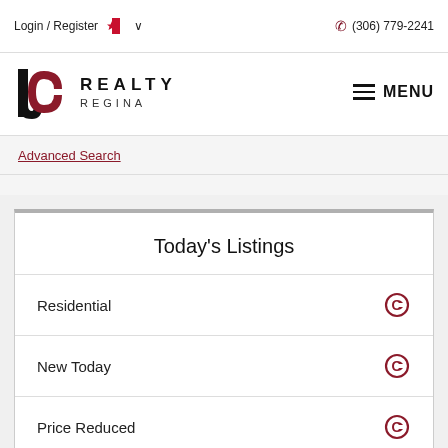Login / Register  (306) 779-2241
[Figure (logo): JC Realty Regina logo with stylized J and C letters, text REALTY REGINA]
Advanced Search
Today's Listings
Residential
New Today
Price Reduced
Lots & Land